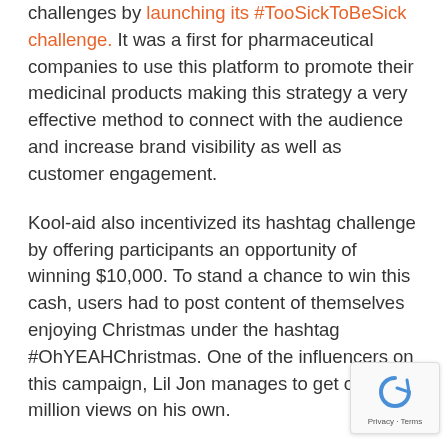challenges by launching its #TooSickToBeSick challenge. It was a first for pharmaceutical companies to use this platform to promote their medicinal products making this strategy a very effective method to connect with the audience and increase brand visibility as well as customer engagement.
Kool-aid also incentivized its hashtag challenge by offering participants an opportunity of winning $10,000. To stand a chance to win this cash, users had to post content of themselves enjoying Christmas under the hashtag #OhYEAHChristmas. One of the influencers on this campaign, Lil Jon manages to get over million views on his own.